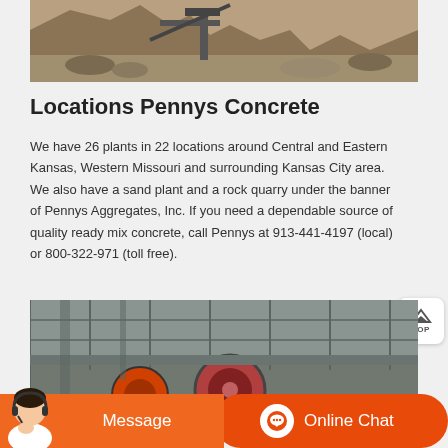[Figure (photo): Aerial view of a rock quarry or aggregate plant with heavy machinery, piles of stone, and excavation equipment]
Locations Pennys Concrete
We have 26 plants in 22 locations around Central and Eastern Kansas, Western Missouri and surrounding Kansas City area. We also have a sand plant and a rock quarry under the banner of Pennys Aggregates, Inc. If you need a dependable source of quality ready mix concrete, call Pennys at 913-441-4197 (local) or 800-322-971 (toll free).
[Figure (photo): Industrial concrete plant or quarry machinery showing metal framework, conveyors, and large wheel/drum equipment]
Message
Online Chat